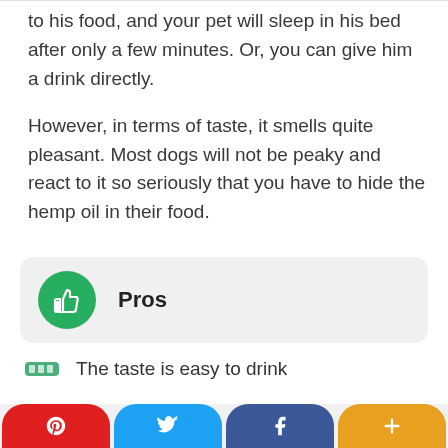to his food, and your pet will sleep in his bed after only a few minutes. Or, you can give him a drink directly.
However, in terms of taste, it smells quite pleasant. Most dogs will not be peaky and react to it so seriously that you have to hide the hemp oil in their food.
[Figure (infographic): Green circular icon with thumbs up, labeled 'Pros']
The taste is easy to drink
Pinterest | Twitter | Facebook | +